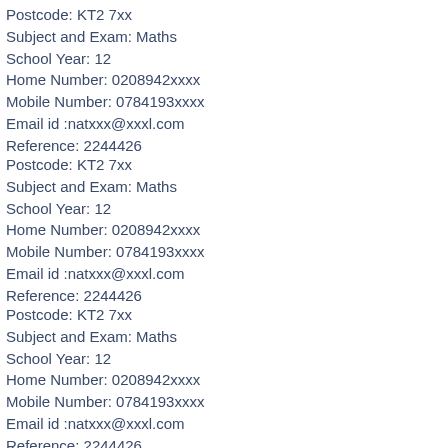Postcode: KT2 7xx
Subject and Exam: Maths
School Year: 12
Home Number: 0208942xxxx
Mobile Number: 0784193xxxx
Email id :natxxx@xxxl.com
Reference: 2244426
Postcode: KT2 7xx
Subject and Exam: Maths
School Year: 12
Home Number: 0208942xxxx
Mobile Number: 0784193xxxx
Email id :natxxx@xxxl.com
Reference: 2244426
Postcode: KT2 7xx
Subject and Exam: Maths
School Year: 12
Home Number: 0208942xxxx
Mobile Number: 0784193xxxx
Email id :natxxx@xxxl.com
Reference: 2244426